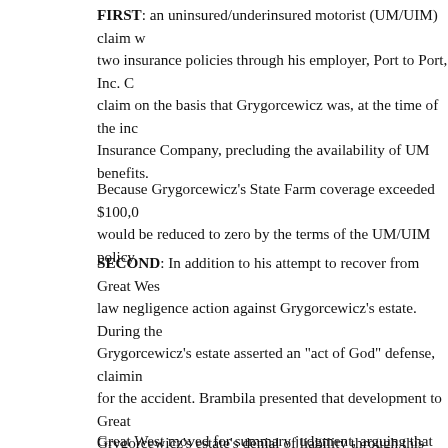FIRST: an uninsured/underinsured motorist (UM/UIM) claim w... two insurance policies through his employer, Port to Port, Inc. C... claim on the basis that Grygorcewicz was, at the time of the inc... Insurance Company, precluding the availability of UM benefits.
Because Grygorcewicz’s State Farm coverage exceeded $100,0... would be reduced to zero by the terms of the UM/UIM policy.
SECOND: In addition to his attempt to recover from Great Wes... law negligence action against Grygorcewicz’s estate. During the... Grygorcewicz’s estate asserted an “act of God” defense, claimin... for the accident. Brambila presented that development to Great ... Grygorcewicz’s estate’s denial of liability through this act-of-Go... insurance coverage, rendering Grygorcewicz an uninsured moto... contention and filed the instant declaratory action seeking a dec... to UM benefits because Grygorcewicz was insured at the time o... not entitled to UIM benefits because Grygorcewicz was not und...
Great West moved for summary judgment, arguing that Grygor...